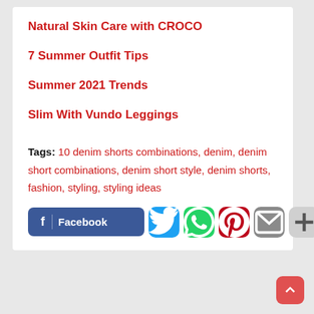Natural Skin Care with CROCO
7 Summer Outfit Tips
Summer 2021 Trends
Slim With Vundo Leggings
Tags: 10 denim shorts combinations, denim, denim short combinations, denim short style, denim shorts, fashion, styling, styling ideas
[Figure (infographic): Social share buttons: Facebook, Twitter, WhatsApp, Pinterest, Email, More (+)]